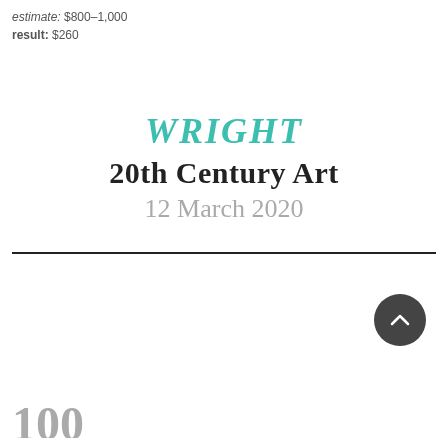estimate: $800–1,000
result: $260
WRIGHT
20th Century Art
12 March 2020
100